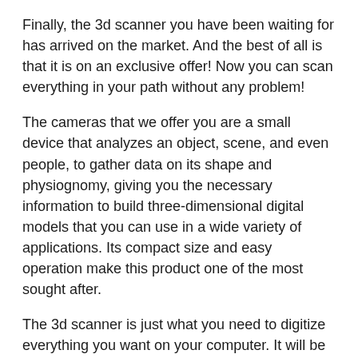Finally, the 3d scanner you have been waiting for has arrived on the market. And the best of all is that it is on an exclusive offer! Now you can scan everything in your path without any problem!
The cameras that we offer you are a small device that analyzes an object, scene, and even people, to gather data on its shape and physiognomy, giving you the necessary information to build three-dimensional digital models that you can use in a wide variety of applications. Its compact size and easy operation make this product one of the most sought after.
The 3d scanner is just what you need to digitize everything you want on your computer. It will be the best friend of graphic designers, architects, automotive engineers, and more! Buy it right now!
Features: